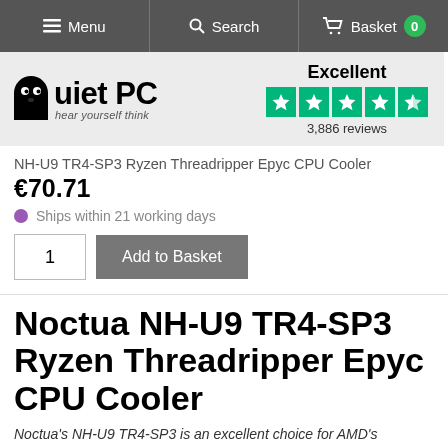Menu | Search | Basket 0
[Figure (logo): Quiet PC logo with ghost icon and tagline 'hear yourself think']
Excellent
3,886 reviews
NH-U9 TR4-SP3 Ryzen Threadripper Epyc CPU Cooler
€70.71
Ships within 21 working days
1  Add to Basket
Noctua NH-U9 TR4-SP3 Ryzen Threadripper Epyc CPU Cooler
Noctua's NH-U9 TR4-SP3 is an excellent choice for AMD's Threadripper CPUs where space is limited. It supports CPUs with a maximum of 180W but does not support overclocking.